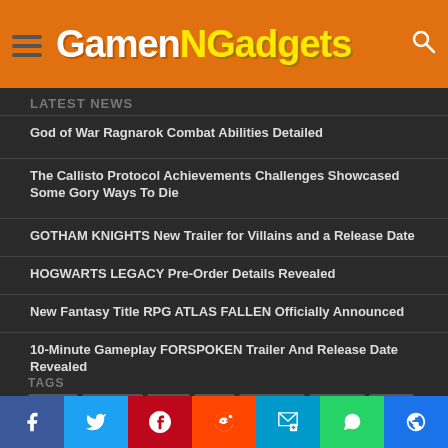GamenGadgets
LATEST NEWS
God of War Ragnarok Combat Abilities Detailed
The Callisto Protocol Achievements Challenges Showcased Some Gory Ways To Die
GOTHAM KNIGHTS New Trailer for Villains and a Release Date
HOGWARTS LEGACY Pre-Order Details Revealed
New Fantasy Title RPG ATLAS FALLEN Officially Announced
10-Minute Gameplay FORSPOKEN Trailer And Release Date Revealed
TAGS
GAMES GADGETS GEAR RANT FEATURED TRAILER VIDEO TECHNOLOGY GAME ANDROID APPLE GTA 5 XBOX ONE PS4 GAMEPLAY XBOX IPHONE PC TIPS NINTENDO SWITCH
Facebook Twitter Pinterest Reddit SMS WhatsApp Other